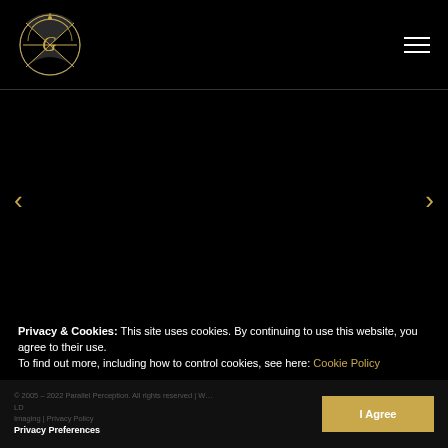[Figure (logo): Circular ornate gold logo with stylized G and fan/clock design on black background]
[Figure (illustration): Navigation arrows (left chevron and right chevron) for a carousel on black background]
Privacy & Cookies: This site uses cookies. By continuing to use this website, you agree to their use.
To find out more, including how to control cookies, see here: Cookie Policy
© 2005 – 2022 Parallel Perception. All rights reserved | Wild ID Imaging | Privacy Policy
Privacy Preferences
I Agree